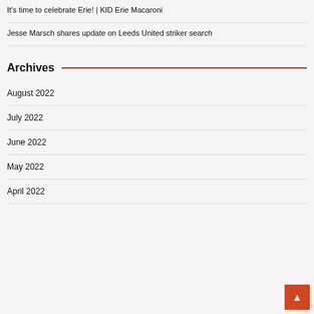It's time to celebrate Erie! | KID Erie Macaroni
Jesse Marsch shares update on Leeds United striker search
Archives
August 2022
July 2022
June 2022
May 2022
April 2022